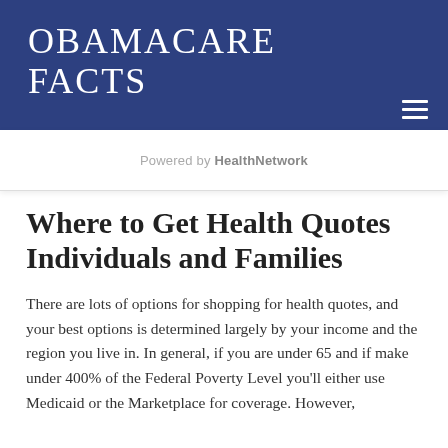OBAMACARE FACTS
Powered by HealthNetwork
Where to Get Health Quotes Individuals and Families
There are lots of options for shopping for health quotes, and your best options is determined largely by your income and the region you live in. In general, if you are under 65 and if make under 400% of the Federal Poverty Level you'll either use Medicaid or the Marketplace for coverage. However,